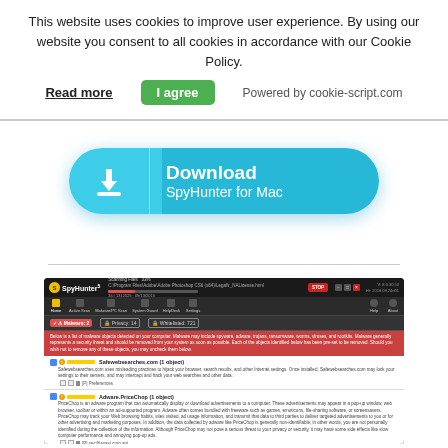This website uses cookies to improve user experience. By using our website you consent to all cookies in accordance with our Cookie Policy.
Read more  |  I agree  |  Powered by cookie-script.com
[Figure (screenshot): Download SpyHunter for Mac button - a large cyan/blue pill-shaped button with download icon and text]
[Figure (screenshot): SpyHunter 5 application screenshot showing malware scan in progress with detected threats including Safewebsearches.com and Adware.PriceChop]